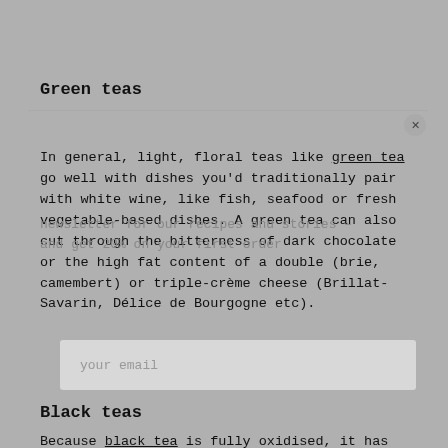Green teas
In general, light, floral teas like green tea go well with dishes you'd traditionally pair with white wine, like fish, seafood or fresh vegetable-based dishes. A green tea can also cut through the bitterness of dark chocolate or the high fat content of a double (brie, camembert) or triple-crème cheese (Brillat-Savarin, Délice de Bourgogne etc).
Black teas
Because black tea is fully oxidised, it has